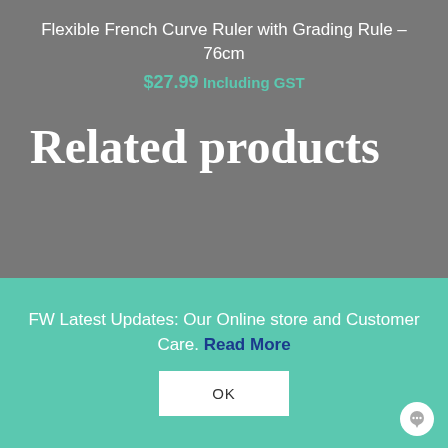Flexible French Curve Ruler with Grading Rule – 76cm
$27.99 Including GST
Related products
[Figure (photo): Partial view of scissors blades on white background]
FW Latest Updates: Our Online store and Customer Care. Read More
OK